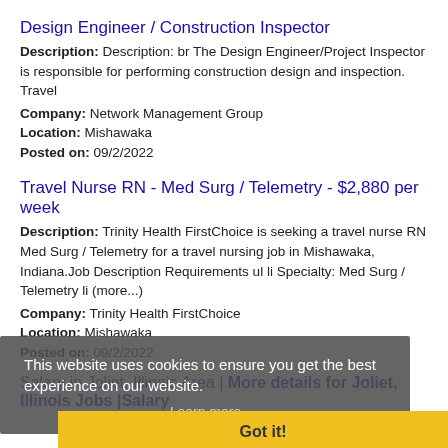Design Engineer / Construction Inspector
Description: Description: br The Design Engineer/Project Inspector is responsible for performing construction design and inspection. Travel
Company: Network Management Group
Location: Mishawaka
Posted on: 09/2/2022
Travel Nurse RN - Med Surg / Telemetry - $2,880 per week
Description: Trinity Health FirstChoice is seeking a travel nurse RN Med Surg / Telemetry for a travel nursing job in Mishawaka, Indiana.Job Description Requirements ul li Specialty: Med Surg / Telemetry li (more...)
Company: Trinity Health FirstChoice
Location: Mishawaka
Posted on: 09/2/2022
This website uses cookies to ensure you get the best experience on our website. Learn more
Got it!
Salary in Joliet, Illinois Area | More details for Joliet, Illinois Jobs |Salary
Physician / Internal Medicine / Indiana / Permanent / Traditional Internal Medicine
Description: The Practice ul li Hospital Employed li Practice of 3 IM...